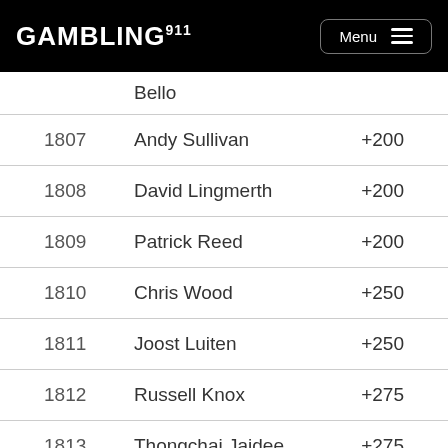GAMBLING911 Menu
| # | Player | Odds |
| --- | --- | --- |
|  | Bello |  |
| 1807 | Andy Sullivan | +200 |
| 1808 | David Lingmerth | +200 |
| 1809 | Patrick Reed | +200 |
| 1810 | Chris Wood | +250 |
| 1811 | Joost Luiten | +250 |
| 1812 | Russell Knox | +275 |
| 1813 | Thongchai Jaidee | +275 |